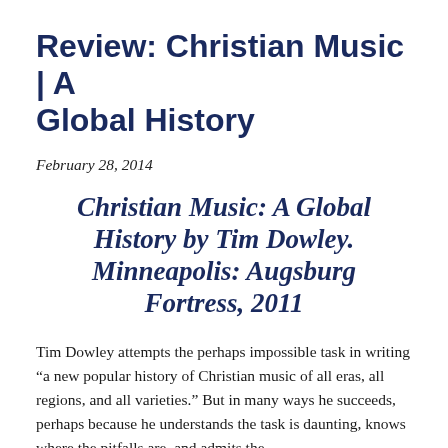Review: Christian Music | A Global History
February 28, 2014
Christian Music:  A Global History by Tim Dowley.  Minneapolis:  Augsburg Fortress, 2011
Tim Dowley attempts the perhaps impossible task in writing “a new popular history of Christian music of all eras, all regions, and all varieties.”  But in many ways he succeeds, perhaps because he understands the task is daunting, knows where the pitfalls are, and admits the